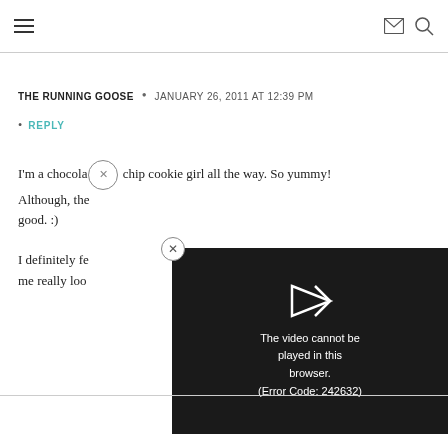THE RUNNING GOOSE
THE RUNNING GOOSE • JANUARY 26, 2011 AT 12:39 PM
• REPLY
I'm a chocolate chip cookie girl all the way. So yummy! Although, th... good. :)
I definitely fe... me really loo...
[Figure (screenshot): Video player showing error message: 'The video cannot be played in this browser. (Error Code: 242632)']